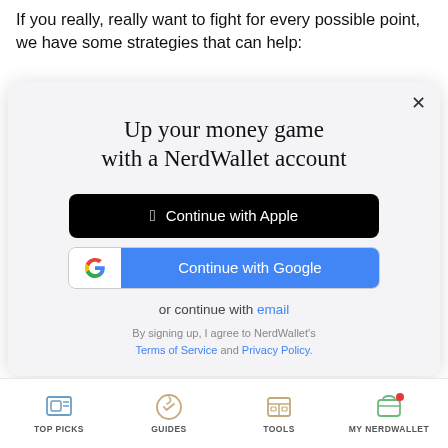If you really, really want to fight for every possible point, we have some strategies that can help:
[Figure (screenshot): NerdWallet sign-up modal with options to Continue with Apple, Continue with Google, or continue with email. Includes terms of service and privacy policy links.]
TOP PICKS | GUIDES | TOOLS | MY NERDWALLET